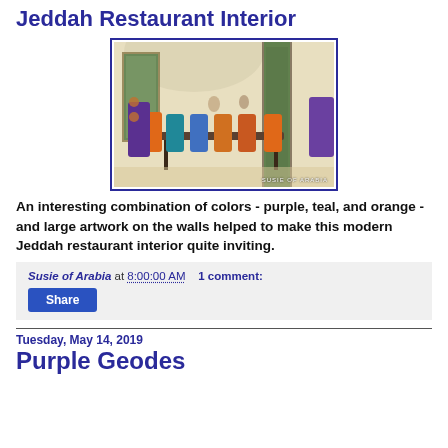Jeddah Restaurant Interior
[Figure (photo): Interior of a modern Jeddah restaurant with colorful chairs in purple, teal, and orange around dining tables, with large artwork on the walls. Watermark reads SUSIE OF ARABIA.]
An interesting combination of colors - purple, teal, and orange - and large artwork on the walls helped to make this modern Jeddah restaurant interior quite inviting.
Susie of Arabia at 8:00:00 AM    1 comment:
Share
Tuesday, May 14, 2019
Purple Geodes